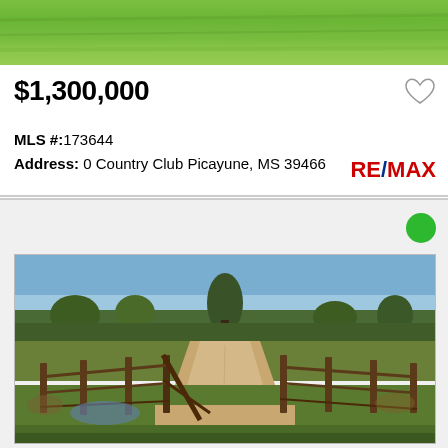[Figure (photo): Top strip of green grass field photo, partially cropped at top of listing card]
$1,300,000
MLS #:173644
Address: 0 Country Club Picayune, MS 39466
RE/MAX
[Figure (photo): Rural property photo showing a dirt road winding through open fields with bare trees, wooden fence posts in foreground, and blue sky background. Location: Picayune, MS 39466]